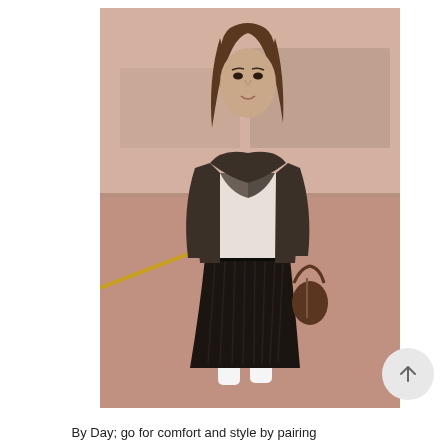[Figure (photo): A female model wearing a dark charcoal leather moto jacket, white top, dark pleated midi skirt, and white sneakers, holding a brown bag by its strap. She is standing in a parking lot or garage setting with a pink/beige wall in the background with a yellow curb visible.]
By Day; go for comfort and style by pairing